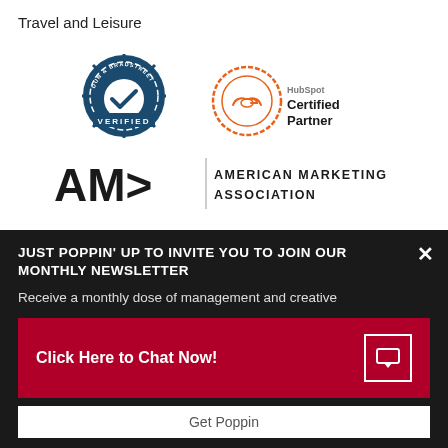Travel and Leisure
[Figure (logo): Dun & Bradstreet Verified badge and HubSpot Certified Partner badge]
[Figure (logo): American Marketing Association logo]
[Figure (logo): U.S. Chamber of Commerce logo and IDSA logo]
1893 Metro Center Drive, Ste 230
JUST POPPIN' UP TO INVITE YOU TO JOIN OUR MONTHLY NEWSLETTER
Receive a monthly dose of management and creative
Click Here to Chat Now!
Get Poppin